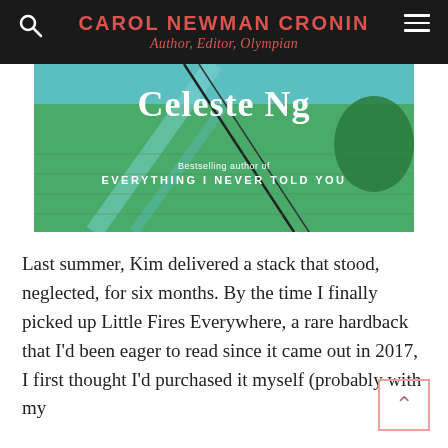CAROL NEWMAN CRONIN
Author, Editor, Olympian
[Figure (photo): Book cover showing aerial view with text 'Celeste Ng', 'Bestselling author of EVERYTHING I NEVER TOLD YOU']
Last summer, Kim delivered a stack that stood, neglected, for six months. By the time I finally picked up Little Fires Everywhere, a rare hardback that I'd been eager to read since it came out in 2017, I first thought I'd purchased it myself (probably with my